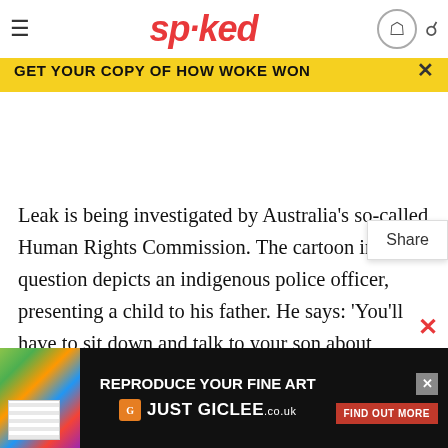spiked — navigation bar with hamburger menu, logo 'spiked', user icon, search icon
Now Bill Leak, an Australian cartoonist, is in the firing line for a cartoon depicting the importance of parental responsibility in indigenous communities.
[Figure (screenshot): Yellow promotional banner: GET YOUR COPY OF HOW WOKE WON with close (×) button]
Leak is being investigated by Australia's so-called Human Rights Commission. The cartoon in question depicts an indigenous police officer, presenting a child to his father. He says: 'You'll have to sit down and talk to your son about personal responsibility.' The indigenous parent responds: 'Yeah righto, what's his name then?' The notion that parents in indigenous communities must take more responsibility for their children is not particularly controversial – it's a point
often made by
ABOUT
[Figure (screenshot): Advertisement banner: REPRODUCE YOUR FINE ART — JUST GICLEE.co.uk — FIND OUT MORE button, with colorful print image on left and portrait photo on right]